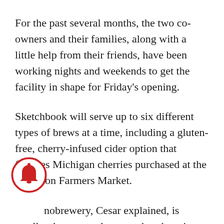For the past several months, the two co-owners and their families, along with a little help from their friends, have been working nights and weekends to get the facility in shape for Friday's opening.
Sketchbook will serve up to six different types of brews at a time, including a gluten-free, cherry-infused cider option that features Michigan cherries purchased at the Evanston Farmers Market.
A nanobrewery, Cesar explained, is smaller than a microbrewery, but there is no standard size. New Hampshire is the only state he knows of